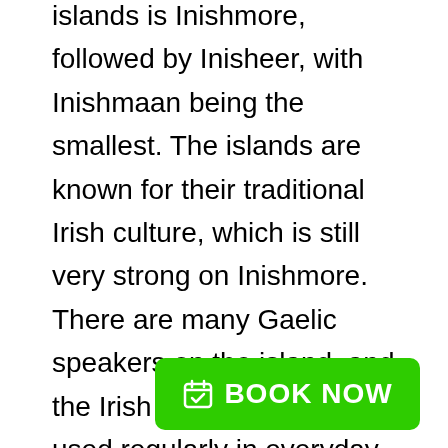islands is Inishmore, followed by Inisheer, with Inishmaan being the smallest. The islands are known for their traditional Irish culture, which is still very strong on Inishmore. There are many Gaelic speakers on the island, and the Irish language is still used regularly in everyday life.

The islands are accessed by ferry from the mainland town of Rossaveal, gGalway City, and Doolin. It's a beautiful ride across Galway Bay, and it's definitely worth a visit if you'r
[Figure (other): Green 'BOOK NOW' button with calendar/checkmark icon]